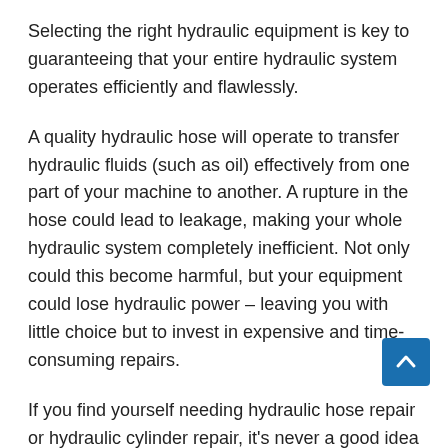Selecting the right hydraulic equipment is key to guaranteeing that your entire hydraulic system operates efficiently and flawlessly.
A quality hydraulic hose will operate to transfer hydraulic fluids (such as oil) effectively from one part of your machine to another. A rupture in the hose could lead to leakage, making your whole hydraulic system completely inefficient. Not only could this become harmful, but your equipment could lose hydraulic power – leaving you with little choice but to invest in expensive and time-consuming repairs.
If you find yourself needing hydraulic hose repair or hydraulic cylinder repair, it's never a good idea to wait too long before you see a hydraulic repair company.